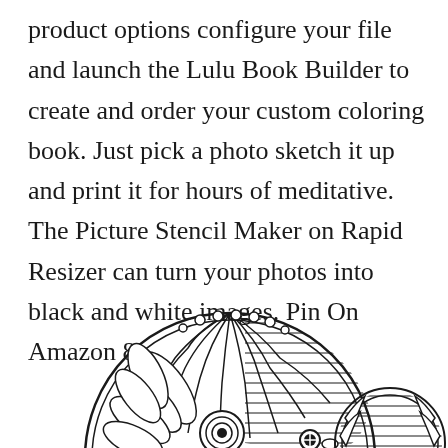product options configure your file and launch the Lulu Book Builder to create and order your custom coloring book. Just pick a photo sketch it up and print it for hours of meditative. The Picture Stencil Maker on Rapid Resizer can turn your photos into black and white images. Pin On Amazon 8.
[Figure (illustration): Black and white intricate zentangle/mandala style coloring book illustration featuring two stylized owl or bird heads with detailed swirling patterns, lines, and decorative elements.]